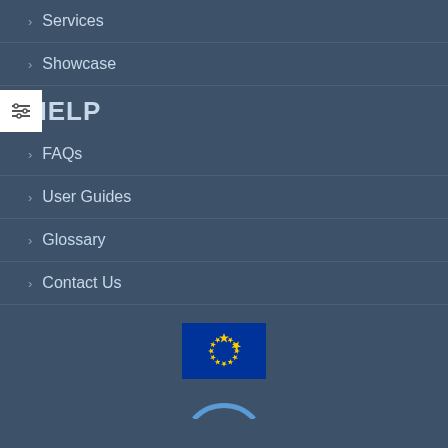Services
Showcase
HELP
FAQs
User Guides
Glossary
Contact Us
[Figure (logo): European Union flag - blue background with 12 yellow stars in a circle]
[Figure (logo): Partial circular logo visible at bottom of page]